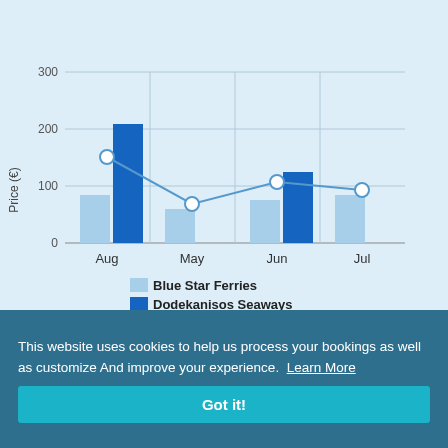Kastelorizo Rhodes Average Prices
[Figure (grouped-bar-chart): Kastelorizo Rhodes Average Prices]
This website uses cookies to help us process your bookings as well as customize And improve your experience. Learn More
Got it!